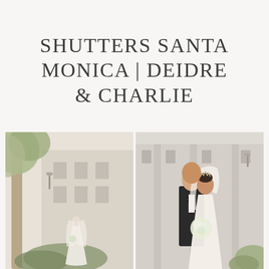SHUTTERS SANTA MONICA | DEIDRE & CHARLIE
[Figure (photo): Wedding photo of bride standing alone in white gown and veil under trees in front of a light-colored building with windows and a lamp]
[Figure (photo): Wedding portrait of groom in black tuxedo kissing bride on the head while bride in white gown holds white floral bouquet and smiles, with building facade in background]